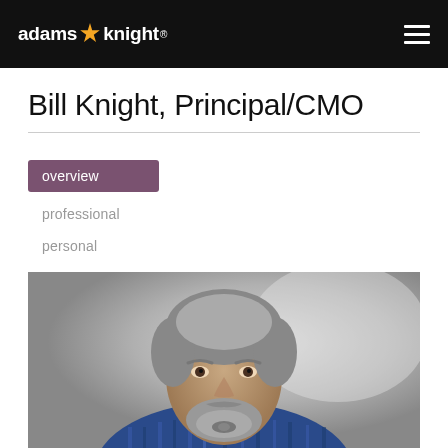adams knight®
Bill Knight, Principal/CMO
overview
professional
personal
[Figure (photo): Professional headshot of Bill Knight, a middle-aged man with gray hair and beard wearing a blue striped shirt, photographed against a gray background.]